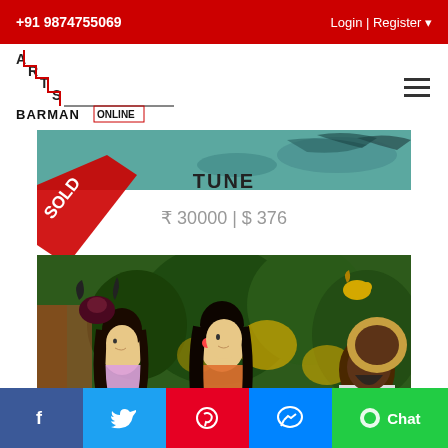+91 9874755069   Login | Register
[Figure (logo): Arts Barman Online logo with staircase design in red and black]
[Figure (photo): Top strip of a painting showing teal/turquoise background with decorative elements]
[Figure (illustration): Red diagonal SOLD ribbon/badge]
TUNE
₹ 30000 | $ 376
[Figure (photo): Indian painting showing three women with dark hair and a bearded man in a lush garden with exotic birds and tropical plants]
f   Twitter   Pinterest   Messenger   Chat